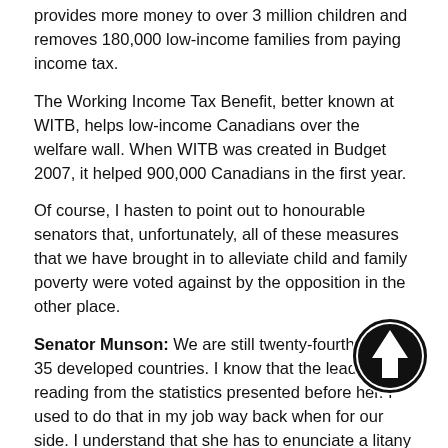provides more money to over 3 million children and removes 180,000 low-income families from paying income tax.
The Working Income Tax Benefit, better known at WITB, helps low-income Canadians over the welfare wall. When WITB was created in Budget 2007, it helped 900,000 Canadians in the first year.
Of course, I hasten to point out to honourable senators that, unfortunately, all of these measures that we have brought in to alleviate child and family poverty were voted against by the opposition in the other place.
Senator Munson: We are still twenty-fourth out of 35 developed countries. I know that the leader is reading from the statistics presented before her. I used to do that in my job way back when for our side. I understand that she has to enunciate a litany of things that the government has done, but surely to goodness she can accept the fact that this government can do better.
Among the specific recommendations from UNICEF was an increase in the Child Tax Benefit to at least $5,000 per year from its current level of about $3,500, and index that amount to inflation. From my perspective, this would have a substantial and immediate impact on Canada's child poverty rate.
Is this a measure the leader's government will consider? If not,